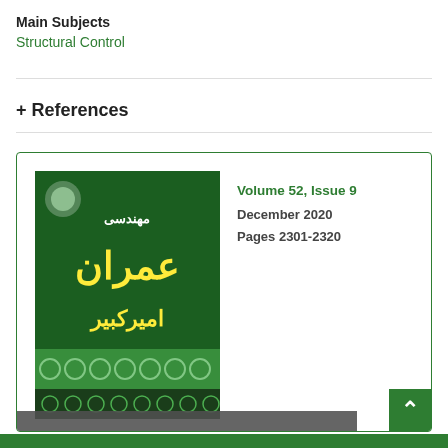Main Subjects
Structural Control
+ References
[Figure (photo): Journal cover of Amirkabir Civil Engineering journal (Persian title), green cover with Arabic/Persian text and decorative pattern]
Volume 52, Issue 9
December 2020
Pages 2301-2320
This website uses cookies to ensure you get the best experience on our website.
Got it!